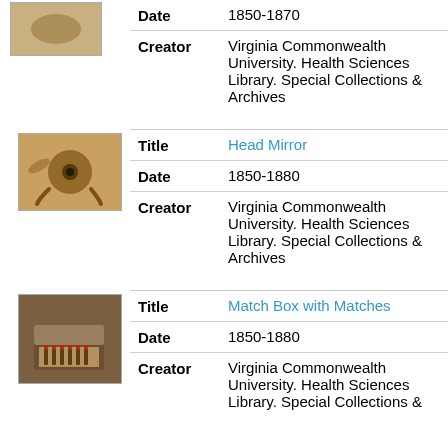Date: 1850-1870
Creator: Virginia Commonwealth University. Health Sciences Library. Special Collections & Archives
[Figure (photo): Head mirror artifact - a round reflective mirror attached to a leather strap headband]
Title: Head Mirror
Date: 1850-1880
Creator: Virginia Commonwealth University. Health Sciences Library. Special Collections & Archives
[Figure (photo): Match box with matches - an open antique tin box with matches inside]
Title: Match Box with Matches
Date: 1850-1880
Creator: Virginia Commonwealth University. Health Sciences Library. Special Collections &